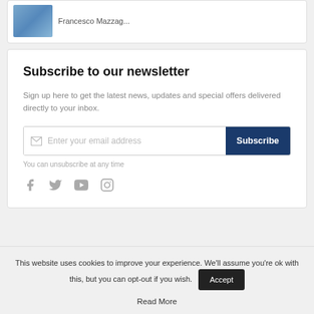[Figure (photo): Partial view of a card with a blue-toned thumbnail image on the left and truncated text 'Francesco Mazzag...' on the right]
Subscribe to our newsletter
Sign up here to get the latest news, updates and special offers delivered directly to your inbox.
Enter your email address  Subscribe
You can unsubscribe at any time
[Figure (infographic): Social media icons: Facebook, Twitter, YouTube, Instagram]
This website uses cookies to improve your experience. We'll assume you're ok with this, but you can opt-out if you wish.  Accept
Read More